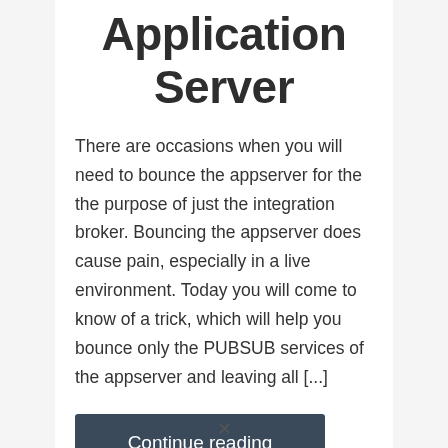Application Server
There are occasions when you will need to bounce the appserver for the the purpose of just the integration broker. Bouncing the appserver does cause pain, especially in a live environment. Today you will come to know of a trick, which will help you bounce only the PUBSUB services of the appserver and leaving all [...]
Continue reading